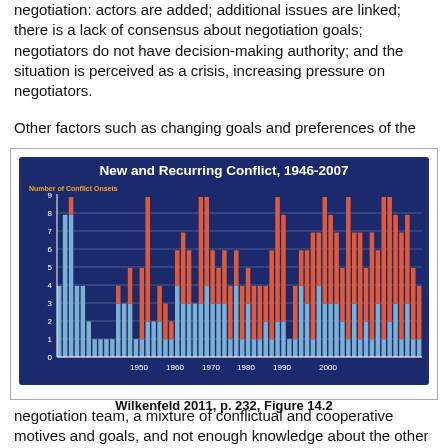negotiation: actors are added; additional issues are linked; there is a lack of consensus about negotiation goals; negotiators do not have decision-making authority; and the situation is perceived as a crisis, increasing pressure on negotiators.
Other factors such as changing goals and preferences of the
[Figure (stacked-bar-chart): New and Recurring Conflict, 1946-2007]
Wilkenfeld 2011, p. 232, Figure 14.2
negotiation team, a mixture of conflictual and cooperative motives and goals, and not enough knowledge about the other parties' goals and